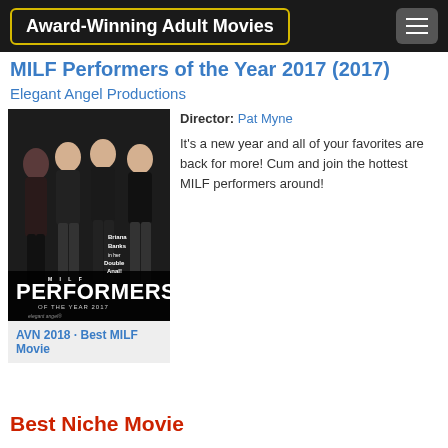Award-Winning Adult Movies
MILF Performers of the Year 2017 (2017)
Elegant Angel Productions
[Figure (photo): Movie cover/poster for MILF Performers of the Year 2017 showing four female performers in lingerie]
Director: Pat Myne
It's a new year and all of your favorites are back for more! Cum and join the hottest MILF performers around!
AVN 2018 · Best MILF Movie
Best Niche Movie